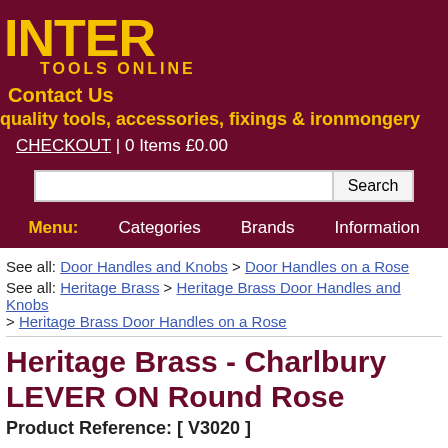INTER TOOLS ONLINE
Contact Us
quality tools, accessories, fixings & ironmongery
CHECKOUT | 0 Items £0.00
Menu: Categories  Brands  Information
See all: Door Handles and Knobs > Door Handles on a Rose
See all: Heritage Brass > Heritage Brass Door Handles and Knobs > Heritage Brass Door Handles on a Rose
Heritage Brass - Charlbury LEVER ON Round Rose
Product Reference: [ V3020 ]